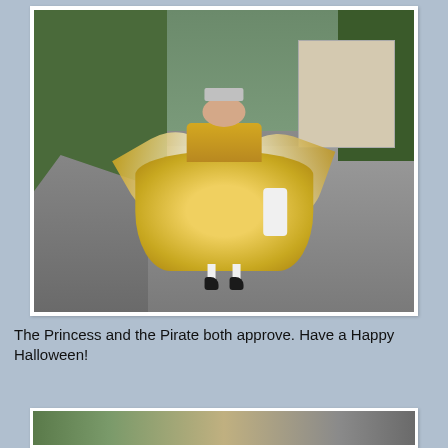[Figure (photo): A young girl dressed in a golden princess costume with a puffy golden dress, white gloves, a white cape spread wide, and a silver tiara crown. She is standing on a sidewalk outdoors with trees and a house visible in the background.]
The Princess and the Pirate both approve. Have a Happy Halloween!
[Figure (photo): Partial view of a second photo at the bottom of the page, showing an outdoor scene.]